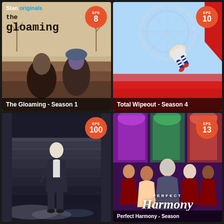[Figure (screenshot): The Gloaming Season 1 TV show poster with Stan Originals branding, two detectives, and episode badge showing EPS 8]
[Figure (screenshot): Total Wipeout Season 4 TV show poster with person mid-air on obstacle course, episode badge showing EPS 10]
[Figure (screenshot): Dark thriller show poster with man on wet stairs, episode badge showing EPS 100]
[Figure (screenshot): Perfect Harmony Season show poster with ensemble cast in choir robes, stained glass background, episode badge showing EPS 13]